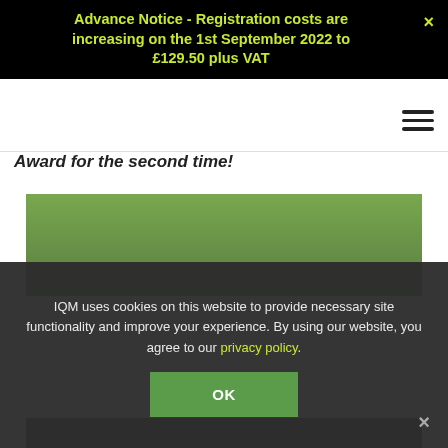Advance Notice - Registration costs are increasing on the 1st September 2022 to £129.50 plus VAT
Award for the second time!
[Figure (photo): Photo of children standing on a green grass field]
IQM uses cookies on this website to provide necessary site functionality and improve your experience. By using our website, you agree to our privacy policy.
[Figure (photo): Partial photo at bottom of page]